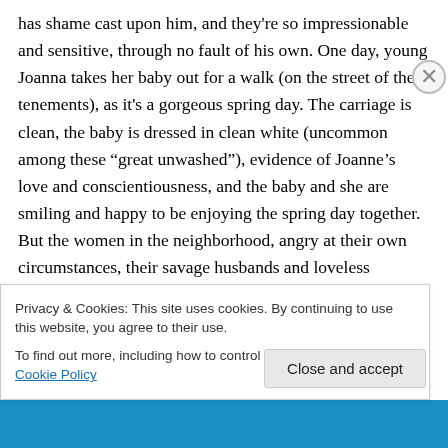has shame cast upon him, and they're so impressionable and sensitive, through no fault of his own. One day, young Joanna takes her baby out for a walk (on the street of the tenements), as it's a gorgeous spring day. The carriage is clean, the baby is dressed in clean white (uncommon among these “great unwashed”), evidence of Joanne’s love and conscientiousness, and the baby and she are smiling and happy to be enjoying the spring day together. But the women in the neighborhood, angry at their own circumstances, their savage husbands and loveless marriages, whatever, are cruel to her. At one point, they
Privacy & Cookies: This site uses cookies. By continuing to use this website, you agree to their use.
To find out more, including how to control cookies, see here: Cookie Policy
Close and accept